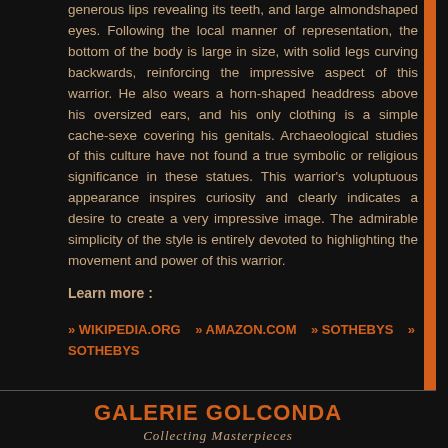generous lips revealing its teeth, and large almondshaped eyes. Following the local manner of representation, the bottom of the body is large in size, with solid legs curving backwards, reinforcing the impressive aspect of this warrior. He also wears a horn-shaped headdress above his oversized ears, and his only clothing is a simple cache-sexe covering his genitals. Archaeological studies of this culture have not found a true symbolic or religious significance in these statues. This warrior's voluptuous appearance inspires curiosity and clearly indicates a desire to create a very impressive image. The admirable simplicity of the style is entirely devoted to highlighting the movement and power of this warrior.
Learn more :
» WIKIPEDIA.ORG   » AMAZON.COM   » SOTHEBYS   » SOTHEBYS
GALERIE GOLCONDA Collecting Masterpieces